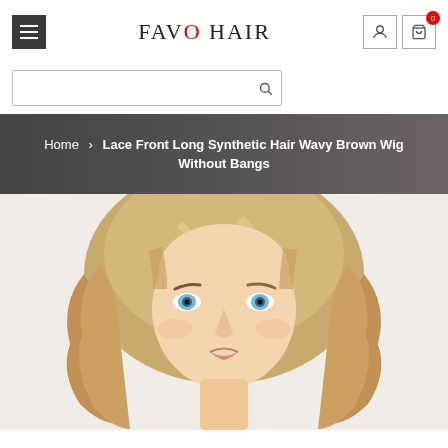FAVO HAIR
Home > Lace Front Long Synthetic Hair Wavy Brown Wig Without Bangs
[Figure (photo): A woman with long wavy blonde/brown hair wearing a wig, facing the camera with blue eyes]